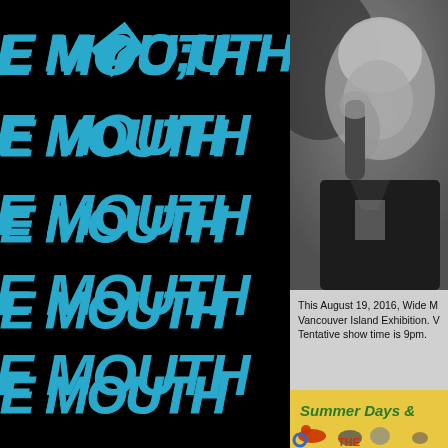[Figure (illustration): Black background with repeated text 'E MOUTH' in blue graffiti-style lettering, 5 rows visible]
[Figure (photo): Black and white photo of a young blonde person with hand raised near face, wearing a leather jacket]
This August 19, 2016, Wide M Vancouver Island Exhibition. V Tentative show time is 9pm.
[Figure (logo): Summer Days & colorful fair/exhibition logo with cowboys, animals, partial text visible]